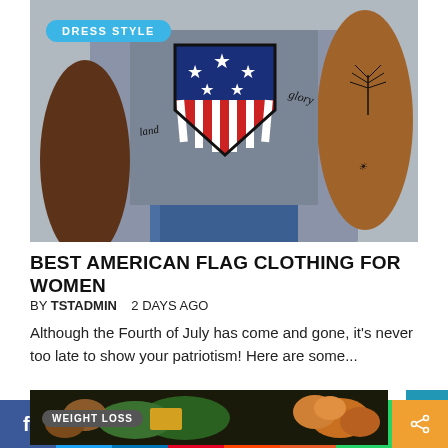[Figure (photo): Woman wearing a gray sleeveless t-shirt with American flag shield graphic and star spangled design, showing arm tattoos of a palm tree. Background is gray. Badge 'DRESS STYLE' in blue pill shape overlaid on top left of image.]
BEST AMERICAN FLAG CLOTHING FOR WOMEN
BY TSTADMIN    2 DAYS AGO
Although the Fourth of July has come and gone, it's never too late to show your patriotism! Here are some...
[Figure (photo): Partial view of a food photo showing eggs, greens, nuts and produce on a dark background. Badge 'WEIGHT LOSS' partially visible.]
[Figure (infographic): Social sharing bar with icons: Facebook (blue), Twitter (light blue), LinkedIn (dark blue), Pinterest (red), Reddit (orange-red), Mix (pink), WhatsApp (green), Share (orange)]